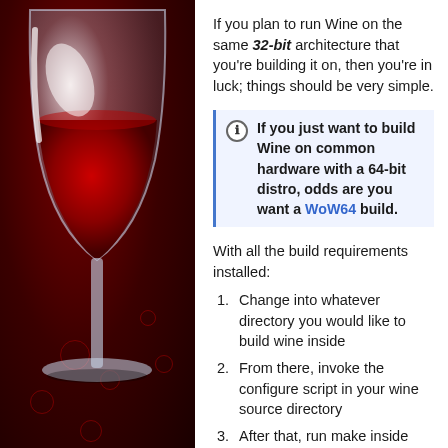[Figure (illustration): Wine logo glass illustration on dark red background with bubble decorations]
If you plan to run Wine on the same 32-bit architecture that you're building it on, then you're in luck; things should be very simple.
If you just want to build Wine on common hardware with a 64-bit distro, odds are you want a WoW64 build.
With all the build requirements installed:
Change into whatever directory you would like to build wine inside
From there, invoke the configure script in your wine source directory
After that, run make inside your build directory
If make finishes successfully, you can install wine into your system with make install